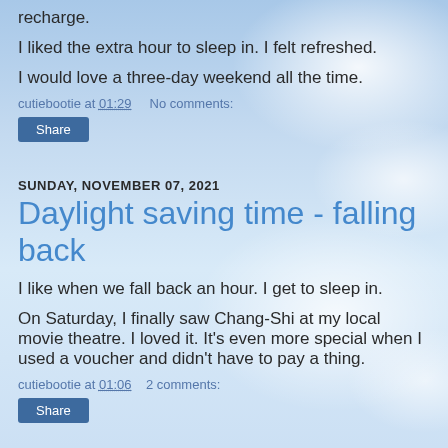recharge.
I liked the extra hour to sleep in. I felt refreshed.
I would love a three-day weekend all the time.
cutiebootie at 01:29    No comments:
Share
SUNDAY, NOVEMBER 07, 2021
Daylight saving time - falling back
I like when we fall back an hour. I get to sleep in.
On Saturday, I finally saw Chang-Shi at my local movie theatre. I loved it. It's even more special when I used a voucher and didn't have to pay a thing.
cutiebootie at 01:06    2 comments:
Share